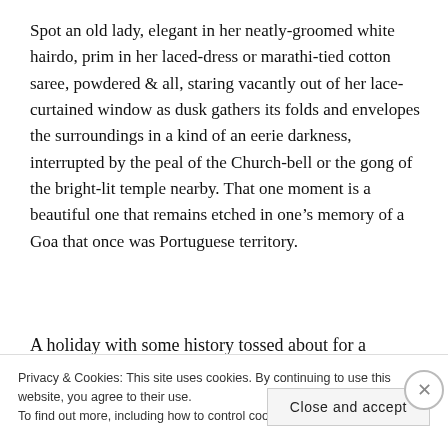Spot an old lady, elegant in her neatly-groomed white hairdo, prim in her laced-dress or marathi-tied cotton saree, powdered & all, staring vacantly out of her lace-curtained window as dusk gathers its folds and envelopes the surroundings in a kind of an eerie darkness, interrupted by the peal of the Church-bell or the gong of the bright-lit temple nearby. That one moment is a beautiful one that remains etched in one's memory of a Goa that once was Portuguese territory.
A holiday with some history tossed about for a
Privacy & Cookies: This site uses cookies. By continuing to use this website, you agree to their use.
To find out more, including how to control cookies, see here: Cookie Policy
Close and accept